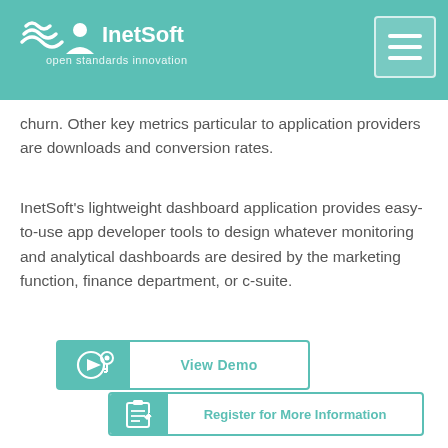InetSoft — open standards innovation
churn. Other key metrics particular to application providers are downloads and conversion rates.
InetSoft's lightweight dashboard application provides easy-to-use app developer tools to design whatever monitoring and analytical dashboards are desired by the marketing function, finance department, or c-suite.
[Figure (other): View Demo button with play icon on teal background]
[Figure (other): Register for More Information button with clipboard icon on teal background]